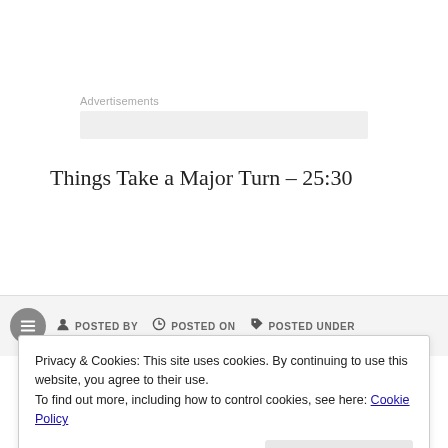Advertisements
Things Take a Major Turn – 25:30
POSTED BY | POSTED ON | POSTED UNDER
Privacy & Cookies: This site uses cookies. By continuing to use this website, you agree to their use. To find out more, including how to control cookies, see here: Cookie Policy
Close and accept